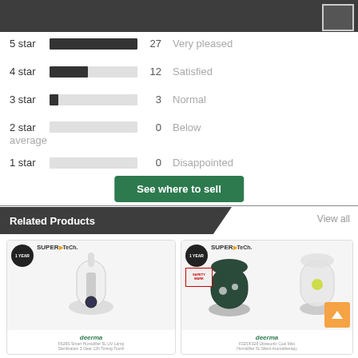[Figure (screenshot): Dark top navigation bar with a small box icon on the right]
[Figure (bar-chart): Star ratings breakdown]
5 star   27   Very pleased
4 star   12   Satisfied
3 star   3   Normal
2 star   0   Below average
1 star   0   Disappointed
See where to sell
Related Products
View all
[Figure (photo): Deerma F628S Smart Humidifier 5L UV Lamp Sterilization 3 Gear 12h Timing Touch product card with 1 Year warranty badge and SuperTech logo]
[Figure (photo): Deerma F325/F328 Ultrasonic Cool Mist Humidifier 5L Silent Aromatherapy product card with 1 Year warranty badge, SuperTech logo, and safety badge]